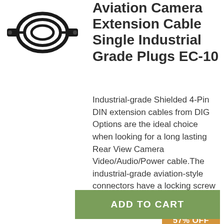[Figure (photo): Product image of a black coiled camera extension cable with aviation-style plugs on each end]
Aviation Camera Extension Cable Single Industrial Grade Plugs EC-10
Industrial-grade Shielded 4-Pin DIN extension cables from DIG Options are the ideal choice when looking for a long lasting Rear View Camera Video/Audio/Power cable.The industrial-grade aviation-style connectors have a locking screw which is designed for k
AU $20.00
57% OFF
RRP AU $46.00
ADD TO CART